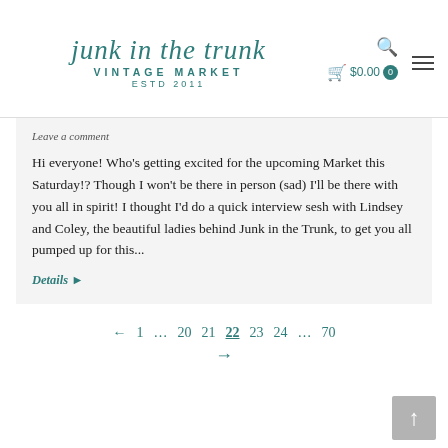junk in the trunk VINTAGE MARKET ESTD 2011
Leave a comment
Hi everyone! Who's getting excited for the upcoming Market this Saturday!? Though I won't be there in person (sad) I'll be there with you all in spirit! I thought I'd do a quick interview sesh with Lindsey and Coley, the beautiful ladies behind Junk in the Trunk, to get you all pumped up for this...
Details ▶
← 1 … 20 21 22 23 24 … 70 →